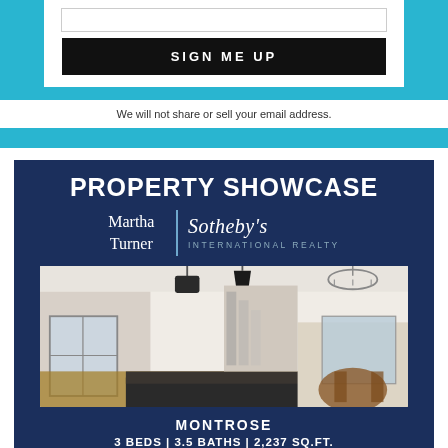[Figure (infographic): Sign-up form section with cyan/teal border, input field, black SIGN ME UP button, and privacy disclaimer text]
We will not share or sell your email address.
[Figure (infographic): Property Showcase advertisement for Martha Turner Sotheby's International Realty with dark navy background, property photo of kitchen/dining room, and property details]
MONTROSE
3 BEDS | 3.5 BATHS | 2,237 SQ.FT.